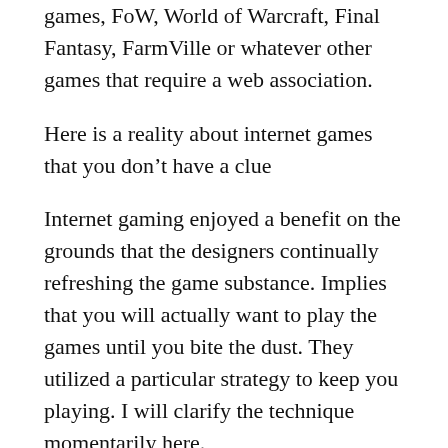games, FoW, World of Warcraft, Final Fantasy, FarmVille or whatever other games that require a web association.
Here is a reality about internet games that you don’t have a clue
Internet gaming enjoyed a benefit on the grounds that the designers continually refreshing the game substance. Implies that you will actually want to play the games until you bite the dust. They utilized a particular strategy to keep you playing. I will clarify the technique momentarily here.
Researcher did investigates mice on the most slot online proficient method to keep a